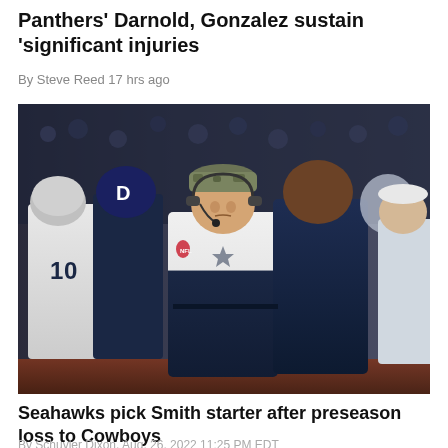Panthers' Darnold, Gonzalez sustain 'significant injuries
By Steve Reed 17 hrs ago
[Figure (photo): Dallas Cowboys NFL coach and staff on sideline during a game, with players in blue and white uniforms, coach wearing headset and white/navy jacket with Cowboys star logo]
Seahawks pick Smith starter after preseason loss to Cowboys
By Schuyler Dixon, Aug. 26, 2022 11:25 PM EDT